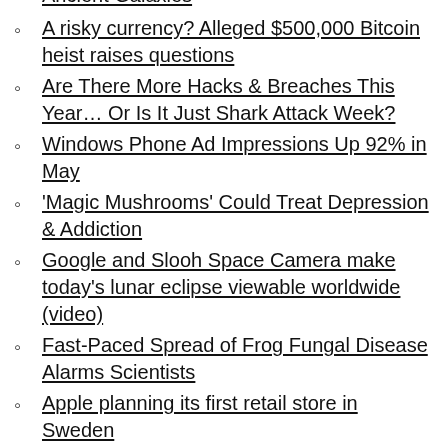Ancient Galaxies
A risky currency? Alleged $500,000 Bitcoin heist raises questions
Are There More Hacks & Breaches This Year… Or Is It Just Shark Attack Week?
Windows Phone Ad Impressions Up 92% in May
'Magic Mushrooms' Could Treat Depression & Addiction
Google and Slooh Space Camera make today's lunar eclipse viewable worldwide (video)
Fast-Paced Spread of Frog Fungal Disease Alarms Scientists
Apple planning its first retail store in Sweden
McAfee CSO Issues Warning On the 'New